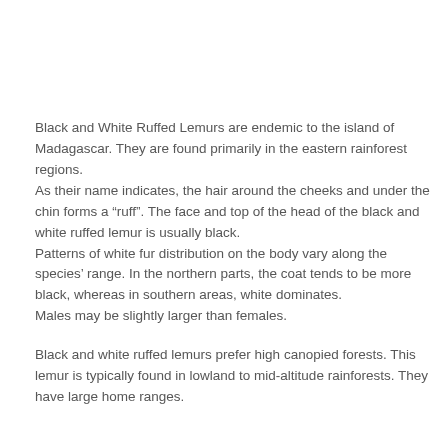Black and White Ruffed Lemurs are endemic to the island of Madagascar. They are found primarily in the eastern rainforest regions. As their name indicates, the hair around the cheeks and under the chin forms a “ruff”. The face and top of the head of the black and white ruffed lemur is usually black. Patterns of white fur distribution on the body vary along the species’ range. In the northern parts, the coat tends to be more black, whereas in southern areas, white dominates. Males may be slightly larger than females.
Black and white ruffed lemurs prefer high canopied forests. This lemur is typically found in lowland to mid-altitude rainforests. They have large home ranges.